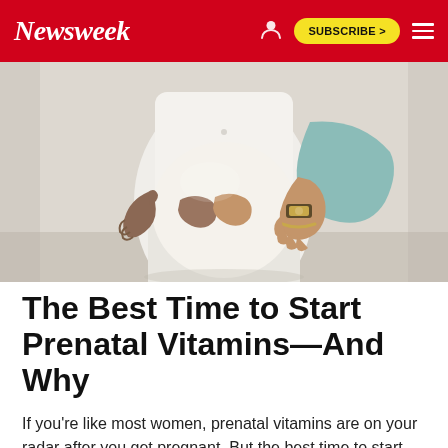Newsweek — SUBSCRIBE >
[Figure (photo): Close-up photo of a pregnant woman in white clothing with two pairs of hands cradling her baby bump. One person wears a watch and bracelet.]
The Best Time to Start Prenatal Vitamins—And Why
If you're like most women, prenatal vitamins are on your radar after you get pregnant. But the best time to start taking them is earlier than you might think.